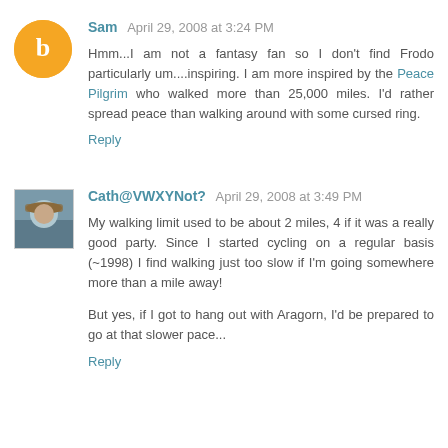Sam  April 29, 2008 at 3:24 PM
Hmm...I am not a fantasy fan so I don't find Frodo particularly um....inspiring. I am more inspired by the Peace Pilgrim who walked more than 25,000 miles. I'd rather spread peace than walking around with some cursed ring.
Reply
Cath@VWXYNot?  April 29, 2008 at 3:49 PM
My walking limit used to be about 2 miles, 4 if it was a really good party. Since I started cycling on a regular basis (~1998) I find walking just too slow if I'm going somewhere more than a mile away!
But yes, if I got to hang out with Aragorn, I'd be prepared to go at that slower pace...
Reply